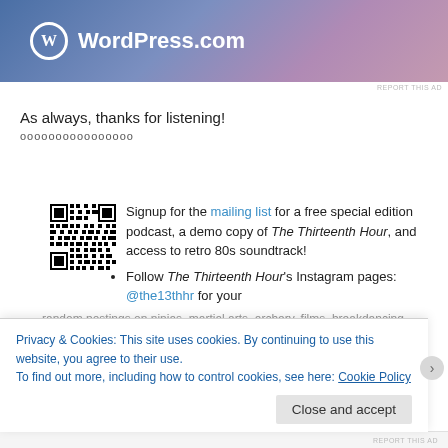[Figure (illustration): WordPress.com advertisement banner with gradient blue-to-purple background, WordPress logo (W in circle) and WordPress.com text in white]
REPORT THIS AD
As always, thanks for listening!
oooooooooooooooo
[Figure (other): QR code image]
Signup for the mailing list for a free special edition podcast, a demo copy of The Thirteenth Hour, and access to retro 80s soundtrack!
Follow The Thirteenth Hour's Instagram pages: @the13thhr for your random postings on ninjas, martial arts, archery, films, breakdancing...
Privacy & Cookies: This site uses cookies. By continuing to use this website, you agree to their use. To find out more, including how to control cookies, see here: Cookie Policy
Close and accept
REPORT THIS AD